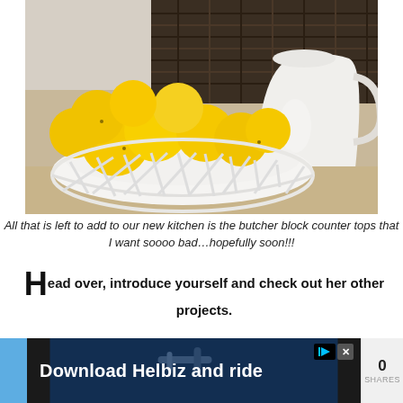[Figure (photo): A white lattice bowl filled with yellow lemons/oranges on a counter, with a white ceramic pitcher and dark wicker baskets in the background.]
All that is left to add to our new kitchen is the butcher block counter tops that I want soooo bad…hopefully soon!!!
Head over, introduce yourself and check out her other projects.
[Figure (screenshot): Advertisement banner: 'Download Helbiz and ride' with play/close icons, twitter share button, and 0 SHARES counter.]